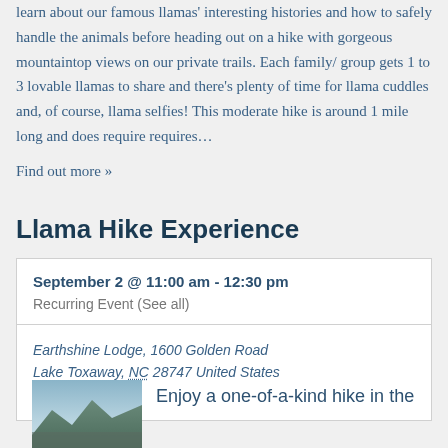learn about our famous llamas' interesting histories and how to safely handle the animals before heading out on a hike with gorgeous mountaintop views on our private trails. Each family/ group gets 1 to 3 lovable llamas to share and there's plenty of time for llama cuddles and, of course, llama selfies! This moderate hike is around 1 mile long and does require requires…
Find out more »
Llama Hike Experience
| September 2 @ 11:00 am - 12:30 pm |  |
| Recurring Event (See all) |  |
| Earthshine Lodge, 1600 Golden Road
Lake Toxaway, NC 28747 United States
+ Google Map |  |
[Figure (photo): Partial preview image of a mountain or scenic landscape, partially visible at the bottom of the page]
Enjoy a one-of-a-kind hike in the